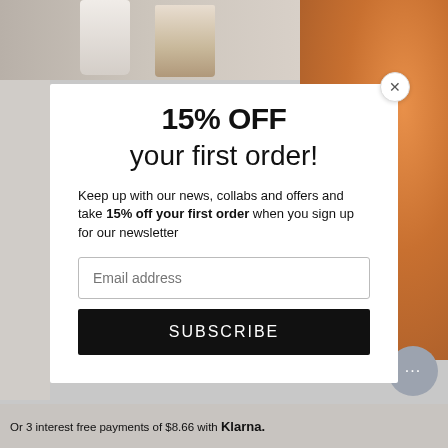[Figure (screenshot): Background product photo showing cosmetic bottles and glitter/shimmer texture in warm brown/copper tones]
15% OFF
your first order!
Keep up with our news, collabs and offers and take 15% off your first order  when you sign up for our newsletter
Email address
SUBSCRIBE
Or 3 interest free payments of $8.66 with Klarna.